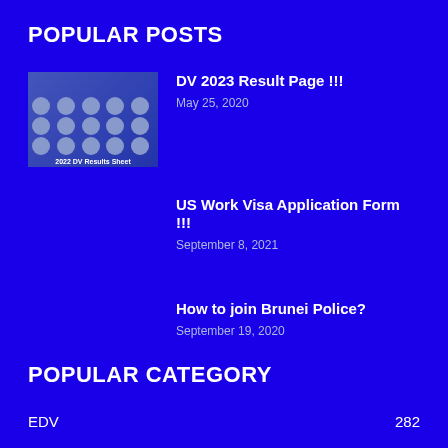POPULAR POSTS
[Figure (photo): Thumbnail image showing a grid of passport-style photos labeled '2022 DV Results Sheet']
DV 2023 Result Page !!!
May 25, 2020
US Work Visa Application Form !!!
September 8, 2021
How to join Brunei Police?
September 19, 2020
POPULAR CATEGORY
EDV   282